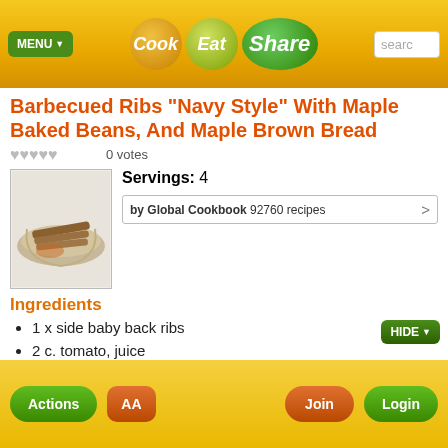Cook Eat Share — MENU — search
Barbecued Ribs "Navy Style" With Maple Baked Beans, And Maple Brown Bread
0 votes
Servings: 4
by Global Cookbook  92760 recipes  >
[Figure (photo): Photo of barbecued ribs dish]
Ingredients
1 x side baby back ribs
2 c. tomato, juice
2 x bay leaf
5 sprg fresh thyme
3 clv garlic
1 Tbsp. whole spice cloves Barbecue Sauce
Actions  AA  Join  Login